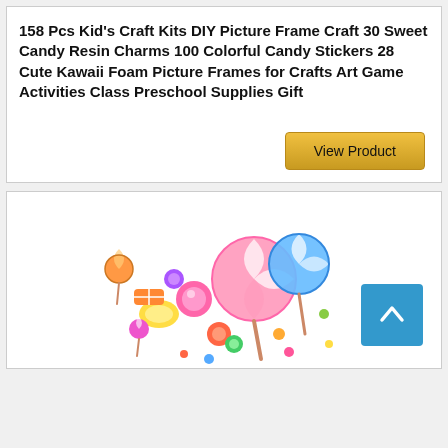158 Pcs Kid's Craft Kits DIY Picture Frame Craft 30 Sweet Candy Resin Charms 100 Colorful Candy Stickers 28 Cute Kawaii Foam Picture Frames for Crafts Art Game Activities Class Preschool Supplies Gift
[Figure (other): A golden 'View Product' button]
[Figure (photo): Colorful candy and lollipop resin charms scattered in a pile, including swirl lollipops, round candies, and various shaped sweet decorations in pink, blue, yellow, and other colors]
[Figure (other): Blue scroll-to-top button with white upward arrow]